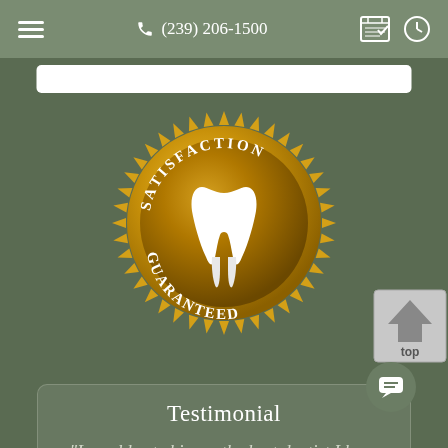(239) 206-1500
[Figure (illustration): Gold satisfaction guaranteed badge/seal with a white tooth in the center and text reading SATISFACTION GUARANTEED around the perimeter, with sunburst edge detail]
[Figure (other): Top/scroll-to-top button with house/arrow icon and 'top' label]
Testimonial
"I would rate him as the best dentist I have had in my lifetime. I would rate him an A+ in skill and as a person who cares."